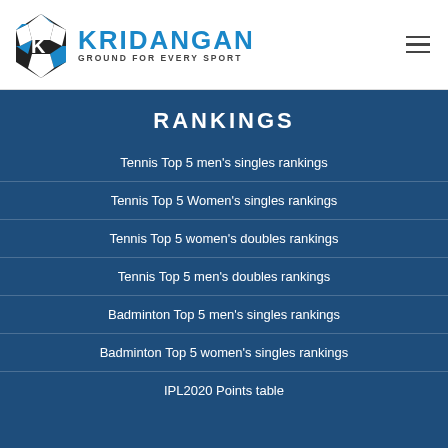[Figure (logo): Kridangan logo with soccer ball and text 'KRIDANGAN GROUND FOR EVERY SPORT']
RANKINGS
Tennis Top 5 men's singles rankings
Tennis Top 5 Women's singles rankings
Tennis Top 5 women's doubles rankings
Tennis Top 5 men's doubles rankings
Badminton Top 5 men's singles rankings
Badminton Top 5 women's singles rankings
IPL2020 Points table